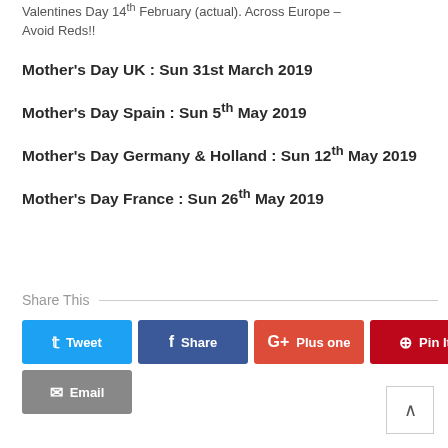Valentines Day 14th February (actual). Across Europe – Avoid Reds!!
Mother's Day UK : Sun 31st March 2019
Mother's Day Spain : Sun 5th May 2019
Mother's Day Germany & Holland : Sun 12th May 2019
Mother's Day France : Sun 26th May 2019
Share This
Tweet | Share | Plus one | Pin It | Email